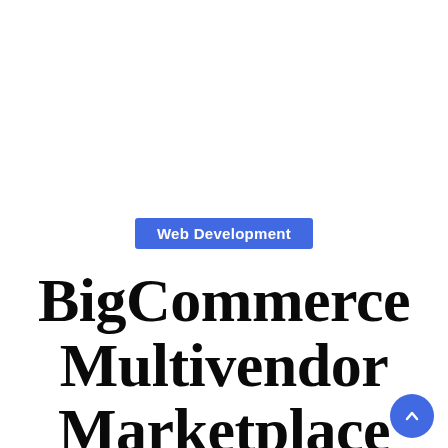Web Development
BigCommerce Multivendor Marketplace